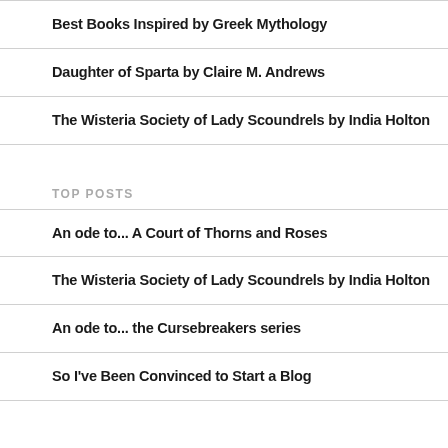Best Books Inspired by Greek Mythology
Daughter of Sparta by Claire M. Andrews
The Wisteria Society of Lady Scoundrels by India Holton
TOP POSTS
An ode to... A Court of Thorns and Roses
The Wisteria Society of Lady Scoundrels by India Holton
An ode to... the Cursebreakers series
So I've Been Convinced to Start a Blog